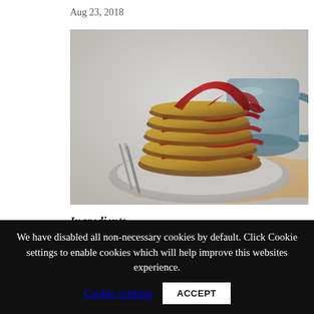Aug 23, 2018
[Figure (photo): Stack of golden cauliflower or potato fritters/pancakes layered with crispy bacon rashers, served on a grey ceramic plate with a fork and knife, placed on a wooden board. A grey ceramic mug is visible in the background. Food photography with moody lighting.]
Ingredients
We have disabled all non-necessary cookies by default. Click Cookie settings to enable cookies which will help improve this websites experience. Cookie settings ACCEPT